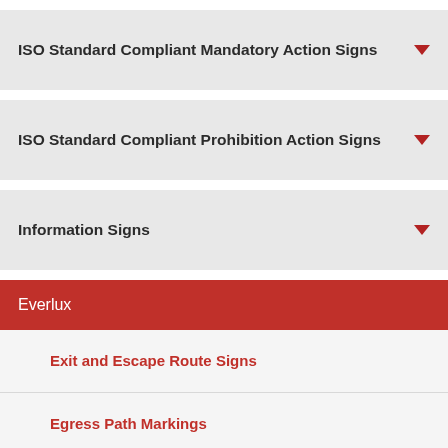ISO Standard Compliant Mandatory Action Signs
ISO Standard Compliant Prohibition Action Signs
Information Signs
Everlux
Exit and Escape Route Signs
Egress Path Markings